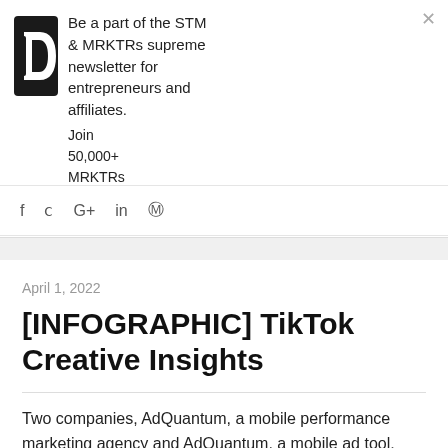[Figure (logo): Black circular logo with a white letter or shape cutout, resembling a bold italic letter 'D' or media play icon]
Be a part of the STM & MRKTRs supreme newsletter for entrepreneurs and affiliates.
Join 50,000+ MRKTRs
What  Enter  JOIN NOW
f  ɥ  G+  in  ℗
April 1, 2022
[INFOGRAPHIC] TikTok Creative Insights
Two companies, AdQuantum, a mobile performance marketing agency and AdQuantum, a mobile ad tool, researched TikTok advertising trends over the past year and came up with the